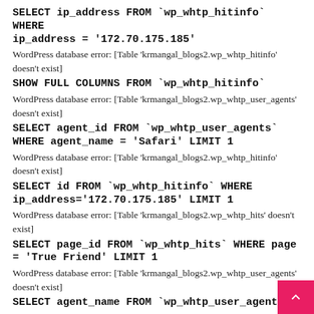SELECT ip_address FROM `wp_whtp_hitinfo` WHERE ip_address = '172.70.175.185'
WordPress database error: [Table 'krmangal_blogs2.wp_whtp_hitinfo' doesn't exist]
SHOW FULL COLUMNS FROM `wp_whtp_hitinfo`
WordPress database error: [Table 'krmangal_blogs2.wp_whtp_user_agents' doesn't exist]
SELECT agent_id FROM `wp_whtp_user_agents` WHERE agent_name = 'Safari' LIMIT 1
WordPress database error: [Table 'krmangal_blogs2.wp_whtp_hitinfo' doesn't exist]
SELECT id FROM `wp_whtp_hitinfo` WHERE ip_address='172.70.175.185' LIMIT 1
WordPress database error: [Table 'krmangal_blogs2.wp_whtp_hits' doesn't exist]
SELECT page_id FROM `wp_whtp_hits` WHERE page = 'True Friend' LIMIT 1
WordPress database error: [Table 'krmangal_blogs2.wp_whtp_user_agents' doesn't exist]
SELECT agent_name FROM `wp_whtp_user_agents`